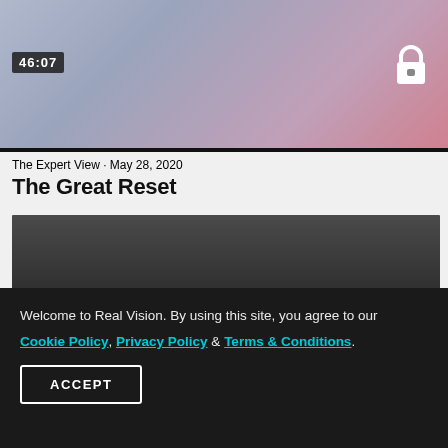[Figure (screenshot): Video thumbnail with blue-pink gradient background, timestamp badge '46:07' in top-left, lock icon in top-right]
The Expert View · May 28, 2020
The Great Reset
[Figure (screenshot): Dark grey video player area]
Welcome to Real Vision. By using this site, you agree to our Cookie Policy, Privacy Policy & Terms & Conditions.
ACCEPT